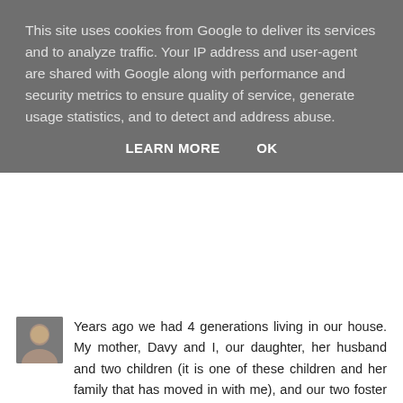This site uses cookies from Google to deliver its services and to analyze traffic. Your IP address and user-agent are shared with Google along with performance and security metrics to ensure quality of service, generate usage statistics, and to detect and address abuse.
LEARN MORE    OK
Years ago we had 4 generations living in our house. My mother, Davy and I, our daughter, her husband and two children (it is one of these children and her family that has moved in with me), and our two foster children. Mealtimes were quite an experience!
Reply
www.retiredandcrazy.com  6 February 2010 at 10:38
I am not saying this will work forever Leilani, but just for today it is working well.
Reply